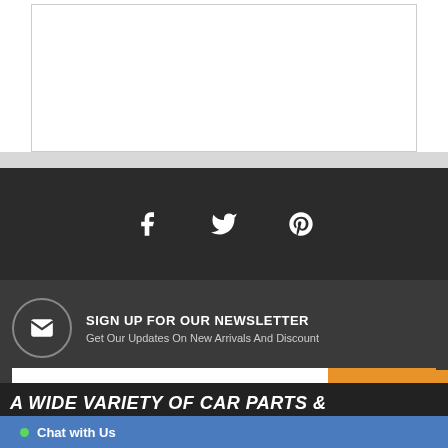[Figure (screenshot): White content area with light gray border at top of page]
[Figure (infographic): Dark social media bar with Facebook, Twitter, and Pinterest icons]
SIGN UP FOR OUR NEWSLETTER
Get Our Updates On New Arrivals And Discount
[Figure (screenshot): Email address input field with orange SUBSCRIBE button]
[Figure (screenshot): Orange scroll-to-top button with double chevron arrows]
A WIDE VARIETY OF CAR PARTS & ACCESSORIES
Chat with Us